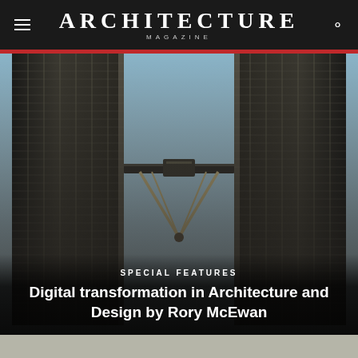ARCHITECTURE MAGAZINE
[Figure (photo): Upward-looking view between two tall skyscrapers (Petronas Twin Towers), showing their steel lattice facades, a sky bridge connecting them, and support struts, with a pale blue sky in the background.]
SPECIAL FEATURES
Digital transformation in Architecture and Design by Rory McEwan